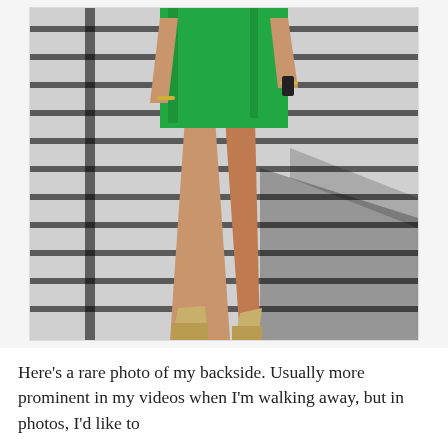[Figure (photo): A woman in a bright green dress and gold/beige high heels walking down large stone steps (stairs). The photo shows her from roughly the torso down. Her shadow is visible on the steps to the right. She holds a phone in one hand.]
Here's a rare photo of my backside. Usually more prominent in my videos when I'm walking away, but in photos, I'd like to